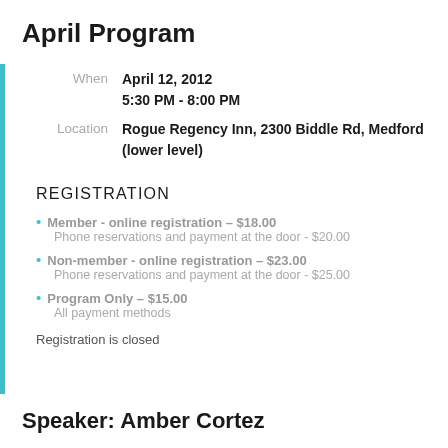April Program
When
April 12, 2012
5:30 PM - 8:00 PM
Location
Rogue Regency Inn, 2300 Biddle Rd, Medford (lower level)
REGISTRATION
Member - online registration – $18.00
Phone reservations and payment at the door - $20.00
Non-member - online registration – $23.00
Phone reservations and payment at the door - $25.00
Program Only – $15.00
All payment methods
Registration is closed
Speaker: Amber Cortez